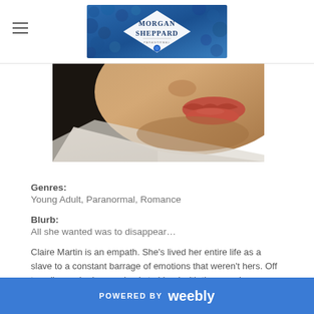Morgan Sheppard
[Figure (photo): Close-up photo of a woman's face from the nose down, showing lips with red lipstick and a white garment]
Genres:
Young Adult, Paranormal, Romance
Blurb:
All she wanted was to disappear…
Claire Martin is an empath. She's lived her entire life as a slave to a constant barrage of emotions that weren't hers. Off to college, she hopes simply to blend with the crowd
POWERED BY weebly